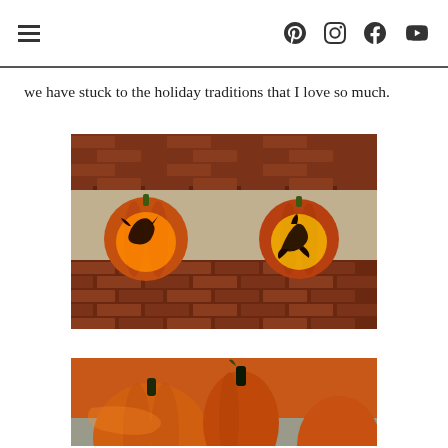[navigation icons: hamburger menu, Pinterest, camera/Instagram, Facebook, YouTube]
we have stuck to the holiday traditions that I love so much.
[Figure (photo): Two carved jack-o-lantern pumpkins glowing orange on a brick wall ledge. Left pumpkin has a dragon silhouette carved into it; right pumpkin has a horseman/rider silhouette. Both are lit from inside showing warm orange glow against dark brick background.]
[Figure (photo): Close-up of carved pumpkins on a step or outdoor surface, orange pumpkins with carved designs visible, partial view cut off at bottom of page.]